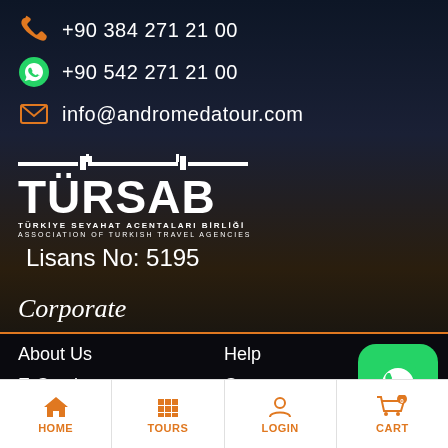+90 384 271 21 00
+90 542 271 21 00
info@andromedatour.com
[Figure (logo): TURSAB - Türkiye Seyahat Acentaları Birliği / Association of Turkish Travel Agencies logo]
Lisans No: 5195
Corporate
About Us
E-Catalog
Help
Contact
[Figure (other): WhatsApp contact button (green rounded square with WhatsApp icon)]
HOME | TOURS | LOGIN | CART